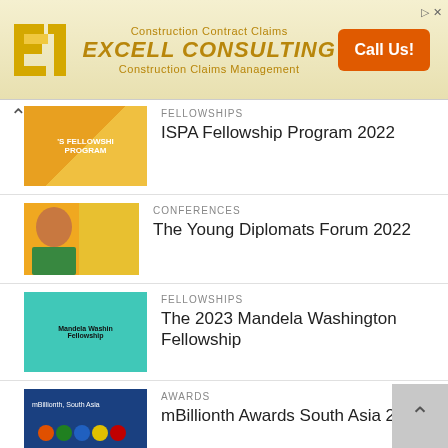[Figure (infographic): Excell Consulting advertisement banner with golden/yellow background, large stylized E logo on left, text 'Construction Contract Claims', 'EXCELL CONSULTING', 'Construction Claims Management', and orange 'Call Us!' button on right]
FELLOWSHIPS
ISPA Fellowship Program 2022
CONFERENCES
The Young Diplomats Forum 2022
FELLOWSHIPS
The 2023 Mandela Washington Fellowship
AWARDS
mBillionth Awards South Asia 2020
CONFERENCES, SDG, WORKSHOPS
UNESCO Youth Leadership Workshop 2020 in Seoul, Korea (Fully Funded)